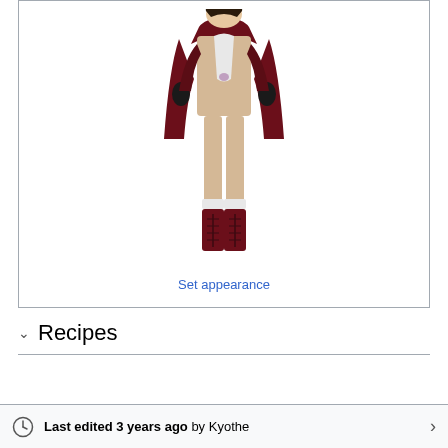[Figure (illustration): 3D rendered game character wearing a dark red/maroon coat over a beige/tan bodysuit with white chest, black gloves, and dark red lace-up boots with white cuffs. The character appears to be a female figure from a video game.]
Set appearance
Recipes
Last edited 3 years ago by Kyothe